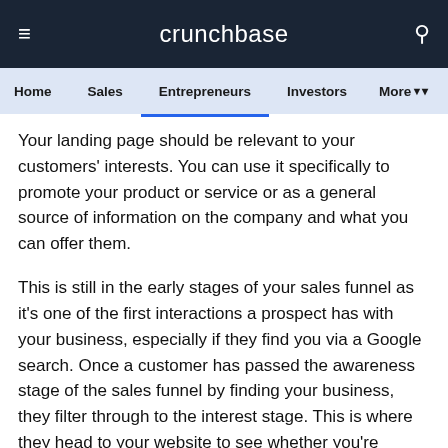crunchbase
Home | Sales | Entrepreneurs | Investors | More
Your landing page should be relevant to your customers' interests. You can use it specifically to promote your product or service or as a general source of information on the company and what you can offer them.
This is still in the early stages of your sales funnel as it's one of the first interactions a prospect has with your business, especially if they find you via a Google search. Once a customer has passed the awareness stage of the sales funnel by finding your business, they filter through to the interest stage. This is where they head to your website to see whether you're offering something they need.
Say the customer is looking for “video conferencing